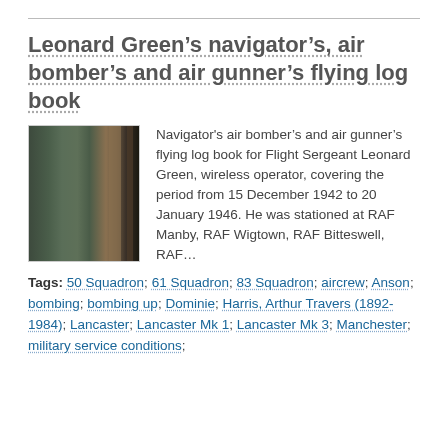Leonard Green’s navigator’s, air bomber’s and air gunner’s flying log book
[Figure (photo): Photograph of a dark green/grey military flying log book cover showing spine and front]
Navigator's air bomber’s and air gunner’s flying log book for Flight Sergeant Leonard Green, wireless operator, covering the period from 15 December 1942 to 20 January 1946. He was stationed at RAF Manby, RAF Wigtown, RAF Bitteswell, RAF…
Tags: 50 Squadron; 61 Squadron; 83 Squadron; aircrew; Anson; bombing; bombing up; Dominie; Harris, Arthur Travers (1892-1984); Lancaster; Lancaster Mk 1; Lancaster Mk 3; Manchester; military service conditions;